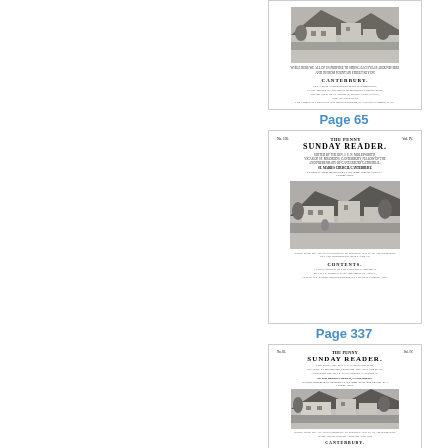[Figure (illustration): Thumbnail image of a document page — title page of The Penny Sunday Reader, showing an engraved illustration of a cottage/church scene and text including CANTERBURY]
Page 65
[Figure (illustration): Thumbnail image of a document page — The Penny Sunday Reader title page, No. 195, Vol. IV, edited by Rev. J.E.N. Molesworth, St. Maries Church Canterbury, with engraved illustration of cottage scene and CONTENTS section]
Page 337
[Figure (illustration): Thumbnail image of a document page — The Penny Sunday Reader title page, No. 85, Vol. IV, edited by Rev. J.E.N. Molesworth, St. Mildred's Church Canterbury, with engraved illustration of cottage/church scene and CANTERBURY text]